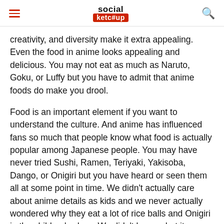social ketc#up
creativity, and diversity make it extra appealing. Even the food in anime looks appealing and delicious. You may not eat as much as Naruto, Goku, or Luffy but you have to admit that anime foods do make you drool.
Food is an important element if you want to understand the culture. And anime has influenced fans so much that people know what food is actually popular among Japanese people. You may have never tried Sushi, Ramen, Teriyaki, Yakisoba, Dango, or Onigiri but you have heard or seen them all at some point in time. We didn't actually care about anime details as kids and we never actually wondered why they eat a lot of rice balls and Onigiri in the children's show. We didn't know what it actually is but we knew that people in Japan eat rice balls. Thus, subconsciously we were aware of different cultures through